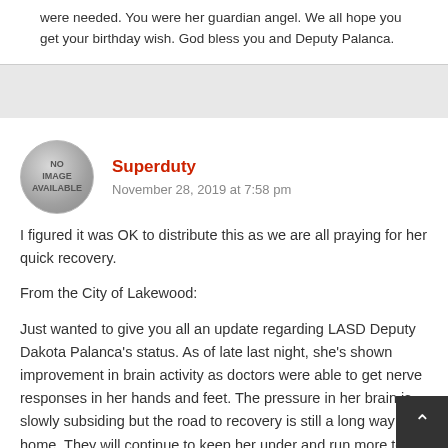were needed. You were her guardian angel. We all hope you get your birthday wish. God bless you and Deputy Palanca.
[Figure (photo): Circular avatar placeholder with text NO IMAGE AVAILABLE on a grey gradient background]
Superduty
November 28, 2019 at 7:58 pm
I figured it was OK to distribute this as we are all praying for her quick recovery.
From the City of Lakewood:
Just wanted to give you all an update regarding LASD Deputy Dakota Palanca's status. As of late last night, she's shown improvement in brain activity as doctors were able to get nerve responses in her hands and feet. The pressure in her brain is slowly subsiding but the road to recovery is still a long way from home. They will continue to keep her under and run more tests on her. Last night, several of her former LASD academy classmates and former drill instructors stayed the night with h…